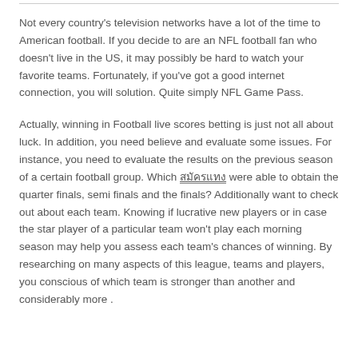Not every country's television networks have a lot of the time to American football. If you decide to are an NFL football fan who doesn't live in the US, it may possibly be hard to watch your favorite teams. Fortunately, if you've got a good internet connection, you will solution. Quite simply NFL Game Pass.
Actually, winning in Football live scores betting is just not all about luck. In addition, you need believe and evaluate some issues. For instance, you need to evaluate the results on the previous season of a certain football group. Which [link] were able to obtain the quarter finals, semi finals and the finals? Additionally want to check out about each team. Knowing if lucrative new players or in case the star player of a particular team won't play each morning season may help you assess each team's chances of winning. By researching on many aspects of this league, teams and players, you conscious of which team is stronger than another and considerably more .